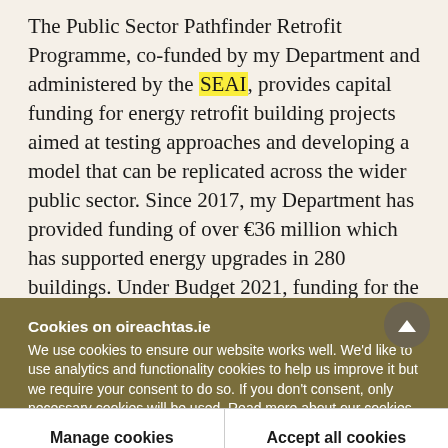The Public Sector Pathfinder Retrofit Programme, co-funded by my Department and administered by the SEAI, provides capital funding for energy retrofit building projects aimed at testing approaches and developing a model that can be replicated across the wider public sector. Since 2017, my Department has provided funding of over €36 million which has supported energy upgrades in 280 buildings. Under Budget 2021, funding for the Programme has more than doubled to €21 million from last year's Budget. I
Cookies on oireachtas.ie
We use cookies to ensure our website works well. We'd like to use analytics and functionality cookies to help us improve it but we require your consent to do so. If you don't consent, only necessary cookies will be used. Read more about our cookies
Manage cookies
Accept all cookies